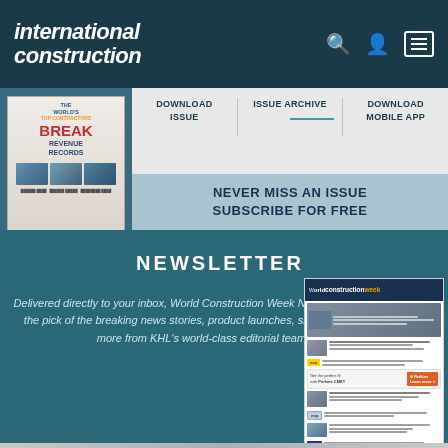international construction
DOWNLOAD ISSUE
ISSUE ARCHIVE
DOWNLOAD MOBILE APP
[Figure (illustration): Magazine cover showing 'THE WORLD'S TOP CONTRACTORS BREAK REVENUE RECORDS']
NEVER MISS AN ISSUE SUBSCRIBE FOR FREE
NEWSLETTER
Delivered directly to your inbox, World Construction Week Newsletter features the pick of the breaking news stories, product launches, show reports and more from KHL's world-class editorial team.
[Figure (screenshot): World Construction Week newsletter preview showing articles, images and an advertisement for Perkins CMET]